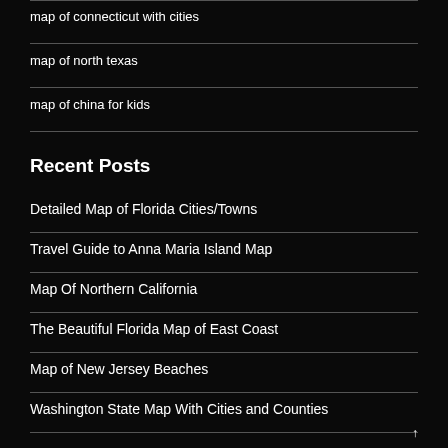map of connecticut with cities
map of north texas
map of china for kids
Recent Posts
Detailed Map of Florida Cities/Towns
Travel Guide to Anna Maria Island Map
Map Of Northern California
The Beautiful Florida Map of East Coast
Map of New Jersey Beaches
Washington State Map With Cities and Counties